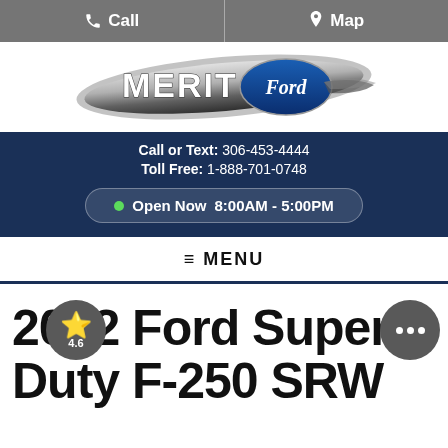Call | Map
[Figure (logo): Merit Ford dealership logo — silver oval shape with 'MERIT' text and Ford blue oval badge in center]
Call or Text: 306-453-4444
Toll Free: 1-888-701-0748
Open Now 8:00AM - 5:00PM
≡ MENU
2022 Ford Super Duty F-250 SRW